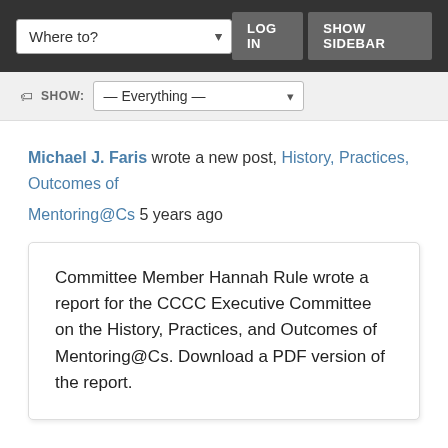Where to? | LOG IN | SHOW SIDEBAR
SHOW: — Everything —
Michael J. Faris wrote a new post, History, Practices, Outcomes of Mentoring@Cs 5 years ago
Committee Member Hannah Rule wrote a report for the CCCC Executive Committee on the History, Practices, and Outcomes of Mentoring@Cs. Download a PDF version of the report.
Michael J. Faris wrote a new post, 2017 CCCC Guide for Graduate